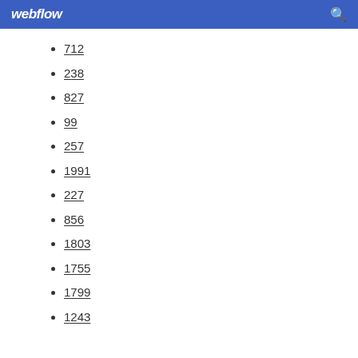webflow
712
238
827
99
257
1991
227
856
1803
1755
1799
1243